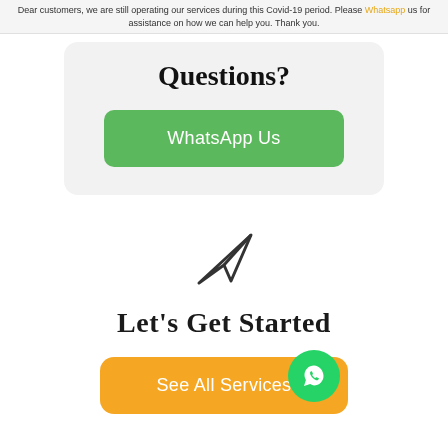Dear customers, we are still operating our services during this Covid-19 period. Please Whatsapp us for assistance on how we can help you. Thank you.
Questions?
[Figure (other): Green WhatsApp Us button]
[Figure (other): Paper plane / send icon]
Let's Get Started
[Figure (other): Orange See All Services button with green WhatsApp floating action button]